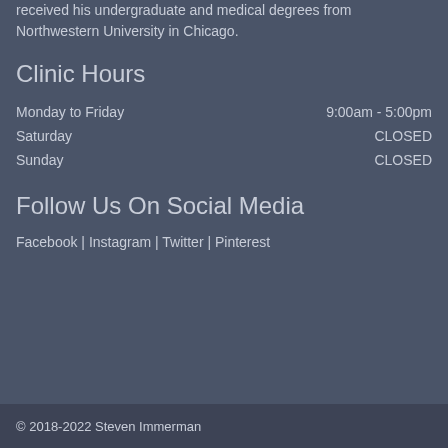received his undergraduate and medical degrees from Northwestern University in Chicago.
Clinic Hours
| Day | Hours |
| --- | --- |
| Monday to Friday | 9:00am - 5:00pm |
| Saturday | CLOSED |
| Sunday | CLOSED |
Follow Us On Social Media
Facebook | Instagram | Twitter | Pinterest
© 2018-2022 Steven Immerman